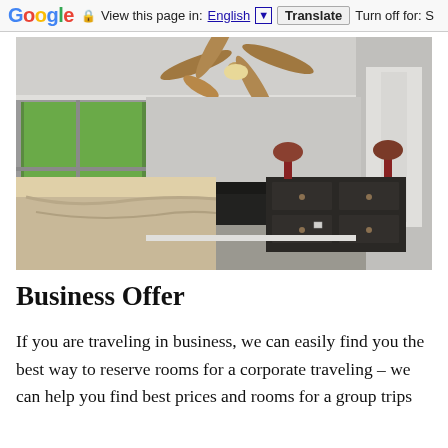Google  View this page in: English [▼]  Translate  Turn off for: S
[Figure (photo): Interior bedroom photo showing a large bed with beige/cream bedding, ceiling fan with light fixture, dark wood dresser with decorative vases and dried flowers, a black leather chair, large sliding glass doors/windows with a view of green trees outside, gray carpet, white walls with crown molding, and a doorway leading to an adjacent room on the right.]
Business Offer
If you are traveling in business, we can easily find you the best way to reserve rooms for a corporate traveling – we can help you find best prices and rooms for a group trips